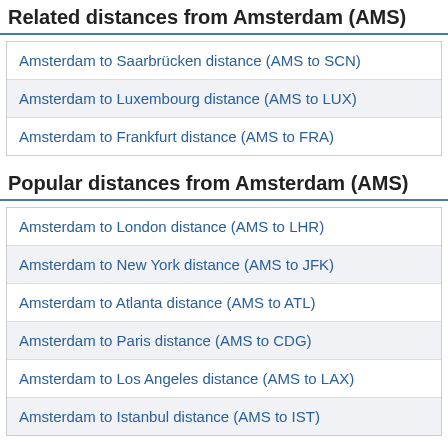Related distances from Amsterdam (AMS)
Amsterdam to Saarbrücken distance (AMS to SCN)
Amsterdam to Luxembourg distance (AMS to LUX)
Amsterdam to Frankfurt distance (AMS to FRA)
Popular distances from Amsterdam (AMS)
Amsterdam to London distance (AMS to LHR)
Amsterdam to New York distance (AMS to JFK)
Amsterdam to Atlanta distance (AMS to ATL)
Amsterdam to Paris distance (AMS to CDG)
Amsterdam to Los Angeles distance (AMS to LAX)
Amsterdam to Istanbul distance (AMS to IST)